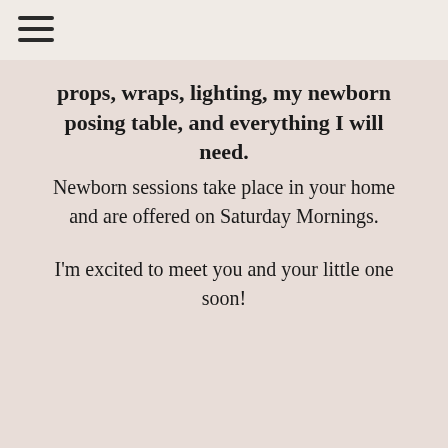☰
props, wraps, lighting, my newborn posing table, and everything I will need. Newborn sessions take place in your home and are offered on Saturday Mornings.
I'm excited to meet you and your little one soon!